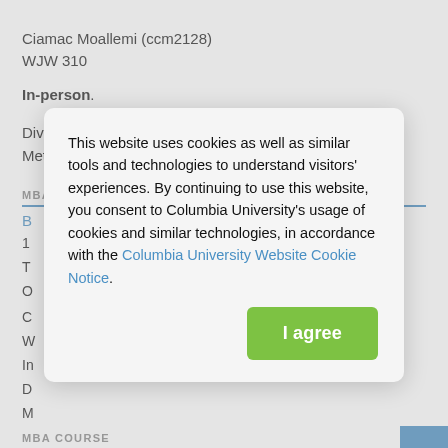Ciamac Moallemi (ccm2128)
WJW 310
In-person.
Division(s): Decision, Risk and Operations
Method of Instruction: In Person
MBA COURSE
BC4121-007 - Business Analytics
1
T
O
C
W
In
D
M
This website uses cookies as well as similar tools and technologies to understand visitors' experiences. By continuing to use this website, you consent to Columbia University's usage of cookies and similar technologies, in accordance with the Columbia University Website Cookie Notice.
I agree
MBA COURSE